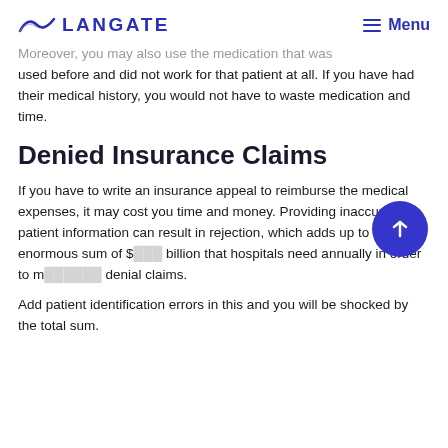LANGATE   Menu
Moreover, you may also use the medication that was used before and did not work for that patient at all. If you have had their medical history, you would not have to waste medication and time.
Denied Insurance Claims
If you have to write an insurance appeal to reimburse the medical expenses, it may cost you time and money. Providing inaccurate patient information can result in rejection, which adds up to the enormous sum of $… billion that hospitals need annually in order to manage denial claims.
Add patient identification errors in this and you will be shocked by the total sum.